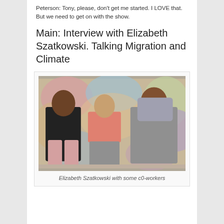Peterson: Tony, please, don't get me started. I LOVE that. But we need to get on with the show.
Main: Interview with Elizabeth Szatkowski. Talking Migration and Climate
[Figure (photo): Three women standing together in front of a colorful mural. The woman on the left wears a black top and pink trousers. The woman in the middle wears a salmon/coral top and a patterned skirt. The woman on the right wears a grey hijab and patterned wrap.]
Elizabeth Szatkowski with some c0-workers